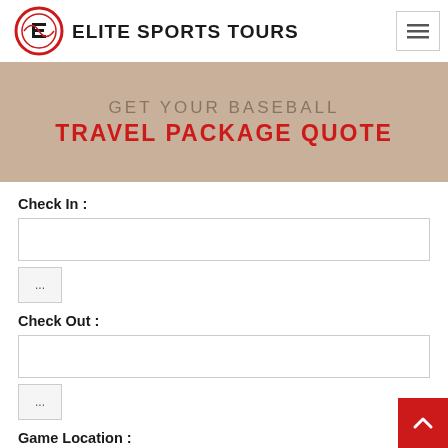[Figure (logo): Elite Sports Tours logo with circular E icon and brand name text]
[Figure (screenshot): Banner image with text GET YOUR BASEBALL TRAVEL PACKAGE QUOTE over a baseball background]
Check In :
(text input field)
...
Check Out :
(text input field)
...
Game Location :
(text input field)